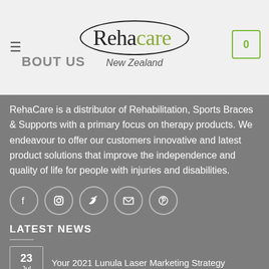ABOUT US — Rehacare New Zealand
RehaCare is a distributor of Rehabilitation, Sports Braces & Supports with a primary focus on therapy products. We endeavour to offer our customers innovative and latest product solutions that improve the independence and quality of life for people with injuries and disabilities.
[Figure (infographic): Social media icons: Facebook, Instagram, Twitter, Email, Pinterest — white outlined circles on grey background]
LATEST NEWS
23 Jul — Your 2021 Lunula Laser Marketing Strategy
22 — What Is The Most Effective Treatment For Fungal